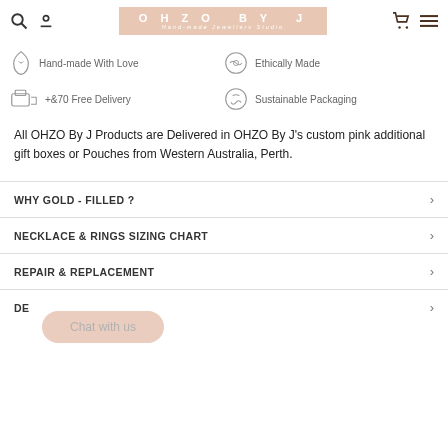OHZO BY J — Hand-made Jewellers Studio
Hand-made With Love
Ethically Made
+&70 Free Delivery
Sustainable Packaging
All OHZO By J Products are Delivered in OHZO By J's custom pink additional gift boxes or Pouches from Western Australia, Perth.
WHY GOLD - FILLED ?
NECKLACE & RINGS SIZING CHART
REPAIR & REPLACEMENT
DE
Chat with us